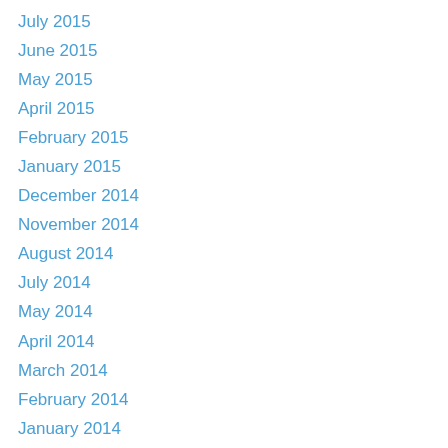July 2015
June 2015
May 2015
April 2015
February 2015
January 2015
December 2014
November 2014
August 2014
July 2014
May 2014
April 2014
March 2014
February 2014
January 2014
December 2013
November 2013
October 2013
September 2013
August 2013